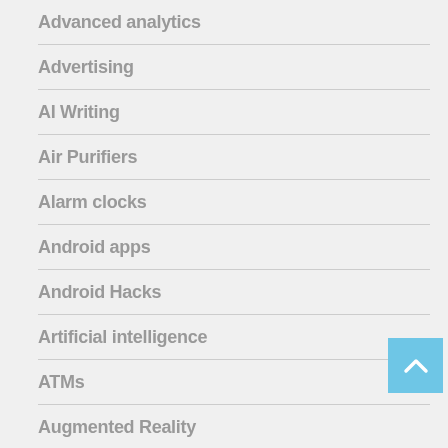Advanced analytics
Advertising
AI Writing
Air Purifiers
Alarm clocks
Android apps
Android Hacks
Artificial intelligence
ATMs
Augmented Reality
Best Android Phones
Best gaming laptops